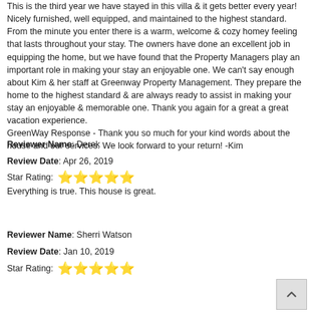This is the third year we have stayed in this villa & it gets better every year! Nicely furnished, well equipped, and maintained to the highest standard. From the minute you enter there is a warm, welcome & cozy homey feeling that lasts throughout your stay. The owners have done an excellent job in equipping the home, but we have found that the Property Managers play an important role in making your stay an enjoyable one. We can't say enough about Kim & her staff at Greenway Property Management. They prepare the home to the highest standard & are always ready to assist in making your stay an enjoyable & memorable one. Thank you again for a great a great vacation experience.
GreenWay Response - Thank you so much for your kind words about the house and our services. We look forward to your return! -Kim
Reviewer Name: Derek
Review Date: Apr 26, 2019
Star Rating: ★★★★★
Everything is true. This house is great.
Reviewer Name: Sherri Watson
Review Date: Jan 10, 2019
Star Rating: ★★★★★